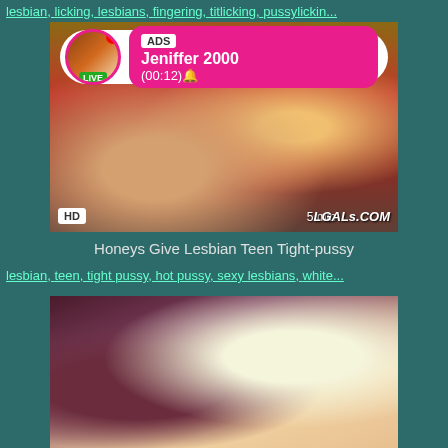lesbian, licking, lesbians, fingering, titlicking, pussylickin...
[Figure (screenshot): Video thumbnail showing adult content with HD badge, LGALs.COM watermark, 5 min duration label, and an ADS overlay popup featuring a profile named 'Jeniffer 2000' with LIVE badge and (00:12) timer]
Honeys Give Lesbian Teen Tight-pussy
lesbian, teen, tight pussy, hot pussy, sexy lesbians, white...
[Figure (screenshot): Video thumbnail showing adult content, partial view]